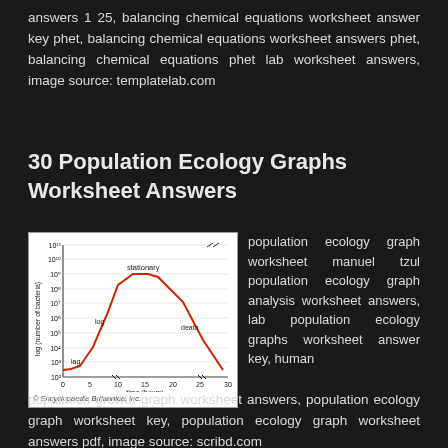answers 1 25, balancing chemical equations worksheet answer key phet, balancing chemical equations worksheet answers phet, balancing chemical equations phet lab worksheet answers, image source: templatelab.com
30 Population Ecology Graphs Worksheet Answers
[Figure (continuous-plot): A bacterial growth curve showing log(number of bacteria) on y-axis (10^2 to 10^11) vs time (hours) on x-axis (0 to 30). A red curve shows lag, log, stationary, and death phases labeled on the graph. Copyright Encyclopaedia Britannica, Inc.]
population ecology graph worksheet manuel tzul population ecology graph analysis worksheet answers, lab population ecology graphs worksheet answer key, human population growth graph worksheet answers, population ecology graph worksheet key, population ecology graph worksheet answers pdf, image source: scribd.com